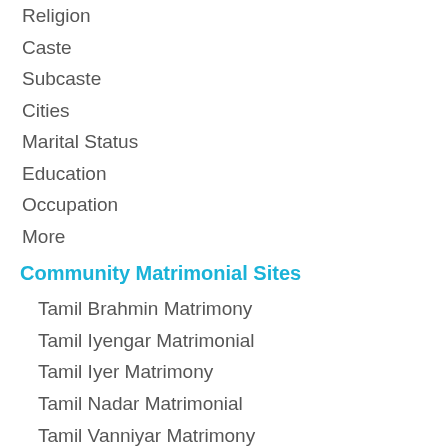Religion
Caste
Subcaste
Cities
Marital Status
Education
Occupation
More
Community Matrimonial Sites
Tamil Brahmin Matrimony
Tamil Iyengar Matrimonial
Tamil Iyer Matrimony
Tamil Nadar Matrimonial
Tamil Vanniyar Matrimony
Tamil Naidu Matrimony
Tamil Chettiar Matrimonial
Tamil Gounder Matrimony
Tamil Kallar Matrimonial
Tamil Maravar Matrimony